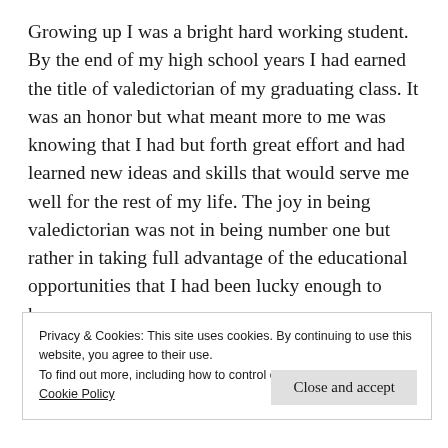Growing up I was a bright hard working student. By the end of my high school years I had earned the title of valedictorian of my graduating class. It was an honor but what meant more to me was knowing that I had but forth great effort and had learned new ideas and skills that would serve me well for the rest of my life. The joy in being valedictorian was not in being number one but rather in taking full advantage of the educational opportunities that I had been lucky enough to have.
Privacy & Cookies: This site uses cookies. By continuing to use this website, you agree to their use. To find out more, including how to control cookies, see here: Cookie Policy
Close and accept